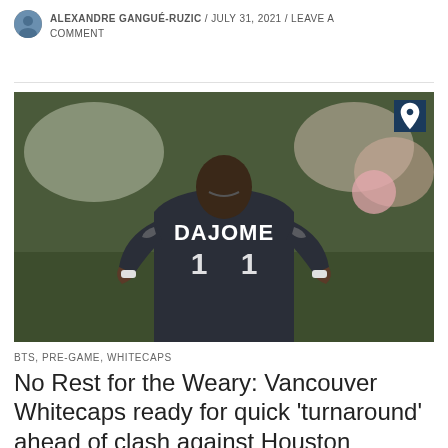ALEXANDRE GANGUÉ-RUZIC / JULY 31, 2021 / LEAVE A COMMENT
[Figure (photo): Soccer player wearing a dark jersey with 'DAJOME 11' on the back, hands on hips, back to camera, with blurred crowd in background]
BTS, PRE-GAME, WHITECAPS
No Rest for the Weary: Vancouver Whitecaps ready for quick 'turnaround' ahead of clash against Houston Dynamo